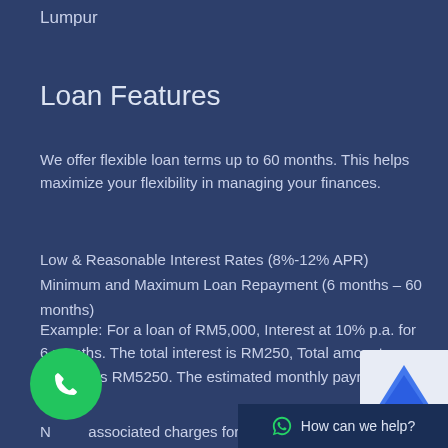Lumpur
Loan Features
We offer flexible loan terms up to 60 months. This helps maximize your flexibility in managing your finances.
Low & Reasonable Interest Rates (8%-12% APR)
Minimum and Maximum Loan Repayment (6 months – 60 months)
Example: For a loan of RM5,000, Interest at 10% p.a. for 6 months. The total interest is RM250, Total amount payable is RM5250. The estimated monthly payment is RM875.
N...associated charges for this loan application